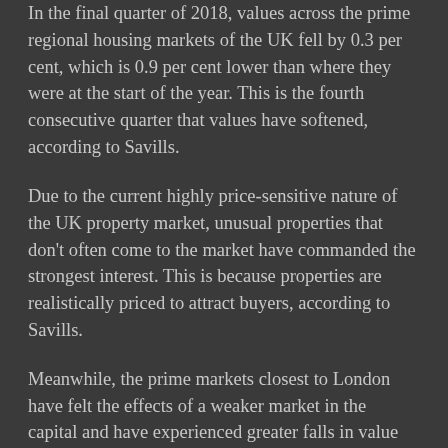In the final quarter of 2018, values across the prime regional housing markets of the UK fell by 0.3 per cent, which is 0.9 per cent lower than where they were at the start of the year. This is the fourth consecutive quarter that values have softened, according to Savills.
Due to the current highly price-sensitive nature of the UK property market, unusual properties that don't often come to the market have commanded the strongest interest. This is because properties are realistically priced to attract buyers, according to Savills.
Meanwhile, the prime markets closest to London have felt the effects of a weaker market in the capital and have experienced greater falls in value than areas further afield. Yet, the fall in the suburban and commuter market around London only fell by 2.6 per cent and 1.6 per cent respectively in 2018.